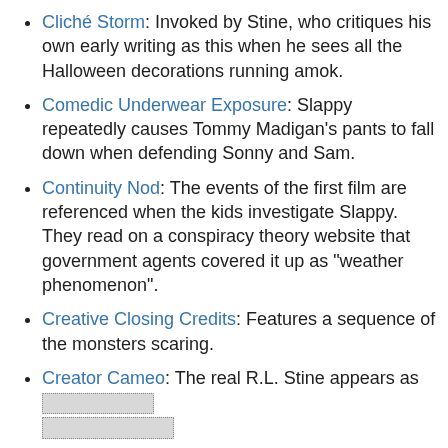Cliché Storm: Invoked by Stine, who critiques his own early writing as this when he sees all the Halloween decorations running amok.
Comedic Underwear Exposure: Slappy repeatedly causes Tommy Madigan's pants to fall down when defending Sonny and Sam.
Continuity Nod: The events of the first film are referenced when the kids investigate Slappy. They read on a conspiracy theory website that government agents covered it up as "weather phenomenon".
Creative Closing Credits: Features a sequence of the monsters scaring.
Creator Cameo: The real R.L. Stine appears as [redacted]
Dem Bones: Quite a few skeletons, particularly the bride and groom.
Demonic Dummy: Guess who.